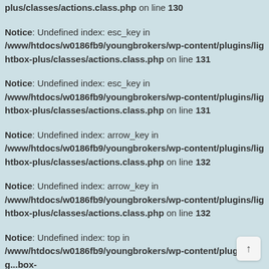plus/classes/actions.class.php on line 130
Notice: Undefined index: esc_key in /www/htdocs/w0186fb9/youngbrokers/wp-content/plugins/lightbox-plus/classes/actions.class.php on line 131
Notice: Undefined index: esc_key in /www/htdocs/w0186fb9/youngbrokers/wp-content/plugins/lightbox-plus/classes/actions.class.php on line 131
Notice: Undefined index: arrow_key in /www/htdocs/w0186fb9/youngbrokers/wp-content/plugins/lightbox-plus/classes/actions.class.php on line 132
Notice: Undefined index: arrow_key in /www/htdocs/w0186fb9/youngbrokers/wp-content/plugins/lightbox-plus/classes/actions.class.php on line 132
Notice: Undefined index: top in /www/htdocs/w0186fb9/youngbrokers/wp-content/plugins/lig...box-